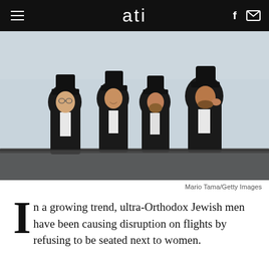ati
[Figure (photo): Four ultra-Orthodox Jewish men in black suits and black hats standing together, leaning on a railing, with a light blue sky background. Photo credit: Mario Tama/Getty Images]
Mario Tama/Getty Images
In a growing trend, ultra-Orthodox Jewish men have been causing disruption on flights by refusing to be seated next to women.